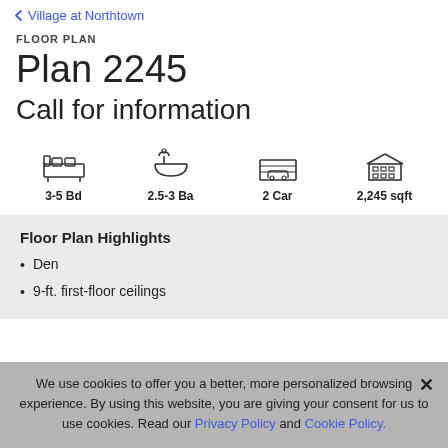Village at Northtown
FLOOR PLAN
Plan 2245
Call for information
[Figure (infographic): Four icons representing home features: bed icon labeled '3-5 Bd', bath icon labeled '2.5-3 Ba', garage/car icon labeled '2 Car', building icon labeled '2,245 sqft']
Floor Plan Highlights
Den
9-ft. first-floor ceilings
We use cookies to offer you a better, more personalized browsing experience. By using this website, you are giving your consent for us to use cookies. Read our Privacy Policy and Cookie Policy.